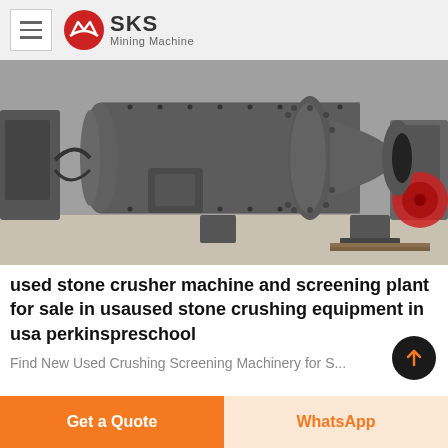SKS Mining Machine
[Figure (photo): Large industrial ball mill / grinding machine (tube mill) in dark grey color, displayed in a factory/warehouse setting. The cylindrical drum machine sits on a concrete floor with other machinery visible in the background.]
used stone crusher machine and screening plant for sale in usaused stone crushing equipment in usa perkinspreschool
Find New Used Crushing Screening Machinery for S...